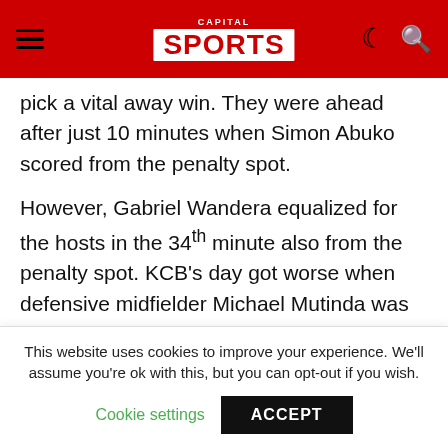Capital Sports
pick a vital away win. They were ahead after just 10 minutes when Simon Abuko scored from the penalty spot.
However, Gabriel Wandera equalized for the hosts in the 34th minute also from the penalty spot. KCB's day got worse when defensive midfielder Michael Mutinda was sent off just before the break for a reckless tackle.
The home side made the most of the numerical advantage and they scored the second and what would turn out to be the winner seven minutes after the break through Kevin Juma's freekick.
This website uses cookies to improve your experience. We'll assume you're ok with this, but you can opt-out if you wish. Cookie settings ACCEPT